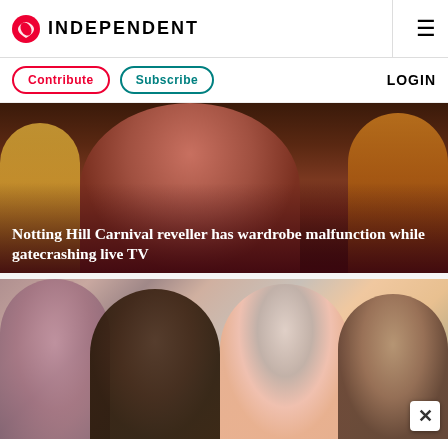INDEPENDENT
Contribute  Subscribe  LOGIN
[Figure (photo): A Notting Hill Carnival reveller with a wardrobe malfunction while appearing on live TV, with another person visible in the background]
Notting Hill Carnival reveller has wardrobe malfunction while gatecrashing live TV
[Figure (photo): A diverse group of four people smiling, including a woman with red hair, a woman with curly dark hair, an older woman with short grey hair and glasses wearing a pink top, and a bearded man]